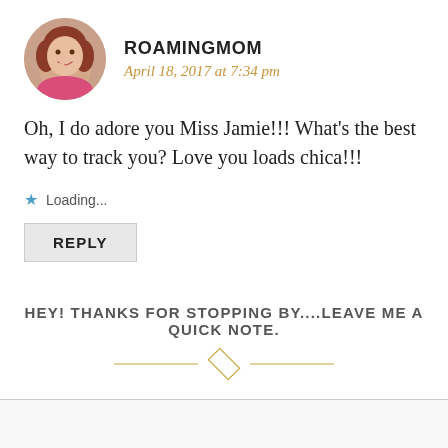[Figure (photo): Circular avatar photo of a woman with reddish-brown hair wearing a pink top, smiling with hand near chin]
ROAMINGMOM
April 18, 2017 at 7:34 pm
Oh, I do adore you Miss Jamie!!! What's the best way to track you? Love you loads chica!!!
Loading...
REPLY
HEY! THANKS FOR STOPPING BY....LEAVE ME A QUICK NOTE.